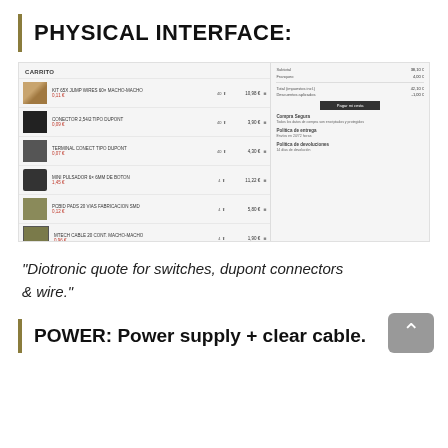PHYSICAL INTERFACE:
[Figure (screenshot): Diotronic online shopping cart screenshot showing items: wire, dupont connectors, terminal connectors, switch, PCB boards with individual prices and quantities, and an order summary panel on the right with checkout button and policies.]
"Diotronic quote for switches, dupont connectors & wire."
POWER: Power supply + clear cable.